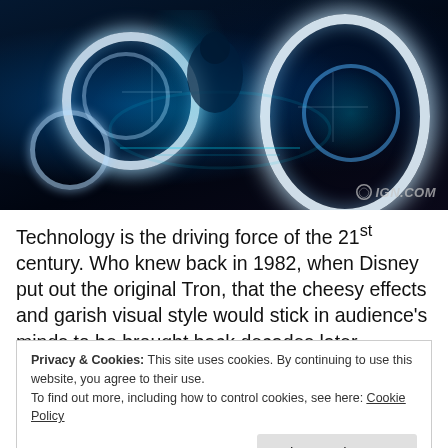[Figure (photo): A futuristic light cycle from the movie Tron, with glowing white circular wheels and cyan/blue lighting against a dark background. IGN.COM watermark visible in bottom right.]
Technology is the driving force of the 21st century. Who knew back in 1982, when Disney put out the original Tron, that the cheesy effects and garish visual style would stick in audience's minds to be brought back decades later.
Privacy & Cookies: This site uses cookies. By continuing to use this website, you agree to their use. To find out more, including how to control cookies, see here: Cookie Policy
Jeff Bridges reprises his role as Kevin Flynn from the first film.